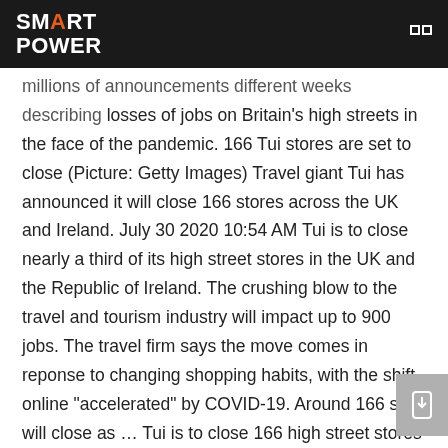SMART POWER
...millions of announcements different weeks describing losses of jobs on Britain's high streets in the face of the pandemic. 166 Tui stores are set to close (Picture: Getty Images) Travel giant Tui has announced it will close 166 stores across the UK and Ireland. July 30 2020 10:54 AM Tui is to close nearly a third of its high street stores in the UK and the Republic of Ireland. The crushing blow to the travel and tourism industry will impact up to 900 jobs. The travel firm says the move comes in reponse to changing shopping habits, with the shift online "accelerated" by COVID-19. Around 166 sites will close as … Tui is to close 166 high street stores in the UK and the Republic of Ireland, the tour operator has announced (Martin Rickett/PA) Shawn Pogatchnik and Mícheál Ó Scannáil July 30 2020 01:18 PM The shop closures, due to the merger of TUI with First Choice, will